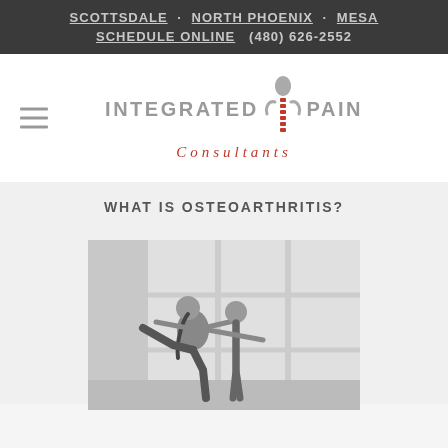SCOTTSDALE · NORTH PHOENIX · MESA SCHEDULE ONLINE (480) 626-2552
[Figure (logo): Integrated Pain Consultants logo with spine icon, hamburger menu icon on left]
WHAT IS OSTEOARTHRITIS?
[Figure (photo): Black and white photo of two women doing pilates/exercise, one woman kicking leg while other assists]